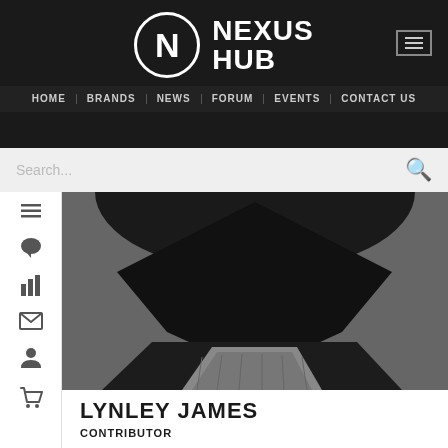NEXUS HUB
HOME | BRANDS | NEWS | FORUM | EVENTS | CONTACT US
[Figure (screenshot): Search bar with placeholder text 'Search...' and magnifying glass icon on light grey background]
[Figure (photo): Black and white photo of person wearing dark beanie hat, shot from above/angle showing top of head and shoulders]
LYNLEY JAMES
CONTRIBUTOR
Grumpy Old Man who still collects toys (THEY. ARE. NOT. DOLLS), PC Gamer lured to the Dark Side of console gaming, comic book reader and fan of all things pop culture.